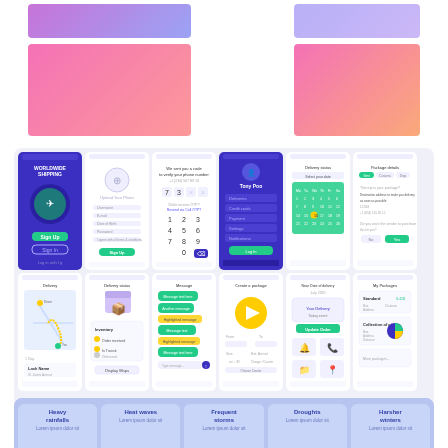[Figure (screenshot): Purple-to-lavender gradient color swatch, rectangular]
[Figure (screenshot): Lavender gradient color swatch, rectangular]
[Figure (screenshot): Pink-to-salmon gradient color swatch, large rectangle]
[Figure (screenshot): Pink-to-orange gradient color swatch, large rectangle]
[Figure (screenshot): Grid of mobile app UI screens showing worldwide shipping app: sign-up, phone verification, number pad, profile, delivery calendar, package tracking screens (top row), and delivery map, status, messaging, order details, notifications, packages screens (bottom row)]
[Figure (infographic): Climate impact cards: Heavy rainfalls, Heat waves, Frequent storms, Droughts, Harsher winters — shown as rounded blue cards on blue background panel]